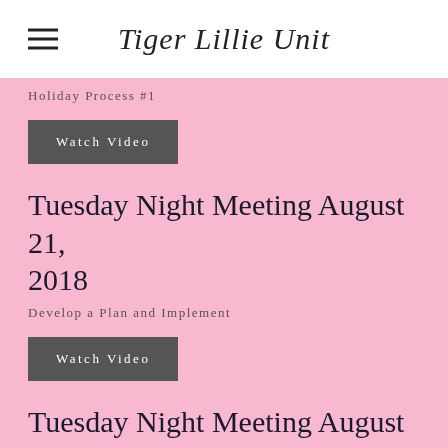Tiger Lillie Unit
Holiday Process #1
Watch Video
Tuesday Night Meeting August 21, 2018
Develop a Plan and Implement
Watch Video
Tuesday Night Meeting August 14, 2018
Beauty Experience Part 2